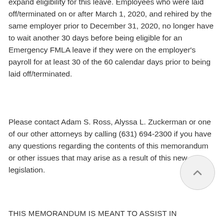expand eligibility for this leave. Employees who were laid off/terminated on or after March 1, 2020, and rehired by the same employer prior to December 31, 2020, no longer have to wait another 30 days before being eligible for an Emergency FMLA leave if they were on the employer's payroll for at least 30 of the 60 calendar days prior to being laid off/terminated.
Please contact Adam S. Ross, Alyssa L. Zuckerman or one of our other attorneys by calling (631) 694-2300 if you have any questions regarding the contents of this memorandum or other issues that may arise as a result of this new legislation.
THIS MEMORANDUM IS MEANT TO ASSIST IN